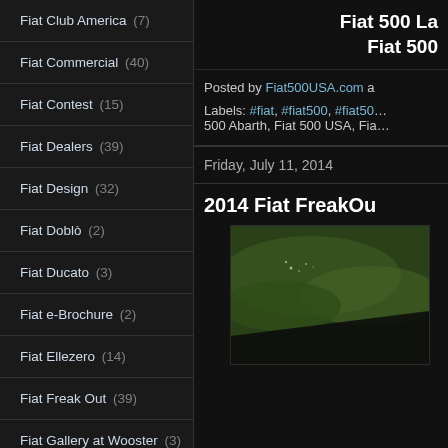Fiat Club America (7)
Fiat Commercial (40)
Fiat Contest (15)
Fiat Dealers (39)
Fiat Design (32)
Fiat Doblò (2)
Fiat Ducato (3)
Fiat e-Brochure (2)
Fiat Ellezero (14)
Fiat Freak Out (39)
Fiat Gallery at Wooster (3)
Fiat History (18)
Fiat Hybrid (9)
Fiat images (2)
Fiat 500 La... Fiat 500...
Posted by Fiat500USA.com a...
Labels: #fiat, #fiat500, #fiat50... 500 Abarth, Fiat 500 USA, Fia...
Friday, July 11, 2014
2014 Fiat FreakOu...
[Figure (photo): Aerial or car window view showing green landscape, likely from inside a moving vehicle]